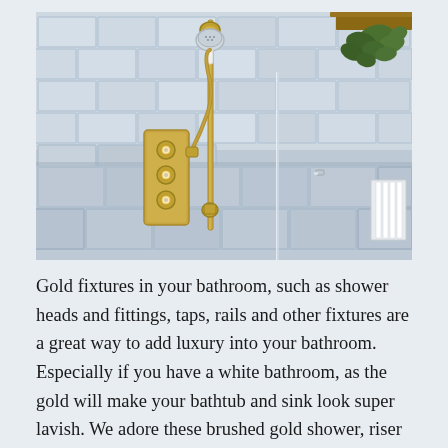[Figure (photo): A bathroom with gold/brass vintage-style shower fixtures including a thermostatic shower valve with three knobs, a sliding riser rail with a handheld shower head, and a flexible hose. The walls are covered in light grey subway tiles. A glass shower screen is visible on the right, along with a white radiator and a hanging plant in the top right corner.]
Gold fixtures in your bathroom, such as shower heads and fittings, taps, rails and other fixtures are a great way to add luxury into your bathroom. Especially if you have a white bathroom, as the gold will make your bathtub and sink look super lavish. We adore these brushed gold shower, riser rail and shower head